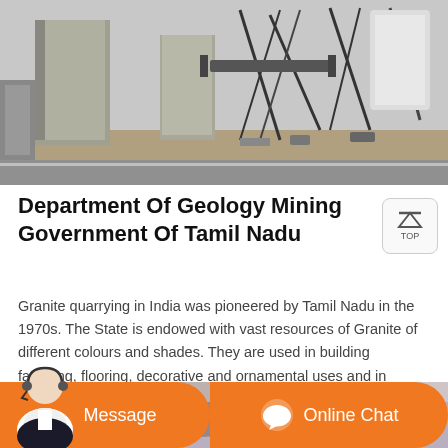[Figure (photo): Construction site with concrete pillars and industrial machinery/steel framework]
Department Of Geology Mining Government Of Tamil Nadu
Granite quarrying in India was pioneered by Tamil Nadu in the 1970s. The State is endowed with vast resources of Granite of different colours and shades. They are used in building facading, flooring, decorative and ornamental uses and in monuments.
[Figure (photo): Outdoor scene, partially visible at bottom of page]
Message
Online Chat